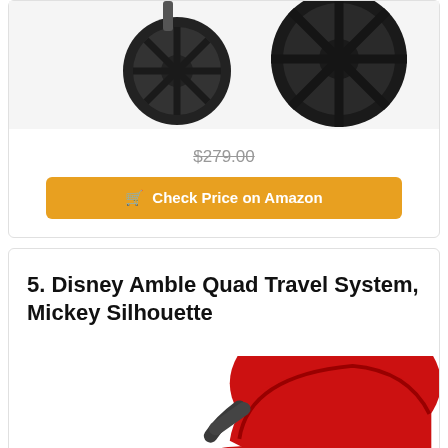[Figure (photo): Bottom portion of a stroller showing two large black wheels on a white/light grey background]
$279.00 (strikethrough price)
Check Price on Amazon (button)
5. Disney Amble Quad Travel System, Mickey Silhouette
[Figure (photo): Red and black Disney Amble Quad Travel System stroller photographed from an angle showing the canopy and seat]